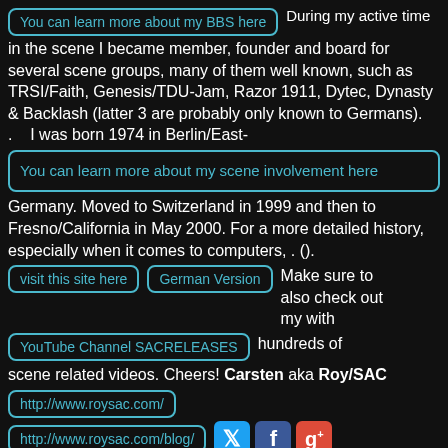[Figure (screenshot): Button link: 'You can learn more about my BBS here']
During my active time in the scene I became member, founder and board for several scene groups, many of them well known, such as TRSI/Faith, Genesis/TDU-Jam, Razor 1911, Dytec, Dynasty & Backlash (latter 3 are probably only known to Germans). .    I was born 1974 in Berlin/East-
[Figure (screenshot): Button link: 'You can learn more about my scene involvement here']
Germany. Moved to Switzerland in 1999 and then to Fresno/California in May 2000. For a more detailed history, especially when it comes to computers, . ().
[Figure (screenshot): Button links: 'visit this site here' and 'German Version']
Make sure to also check out my with hundreds of scene related videos. Cheers! Carsten aka Roy/SAC
[Figure (screenshot): Button link: 'YouTube Channel SACRELEASES']
[Figure (screenshot): Button link: 'http://www.roysac.com/']
[Figure (screenshot): Button link: 'http://www.roysac.com/blog/' with Twitter, Facebook, Google+ icons]